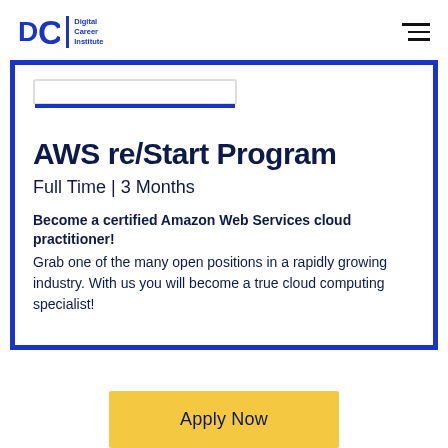DCI Digital Career Institute
AWS re/Start Program
Full Time | 3 Months
Become a certified Amazon Web Services cloud practitioner! Grab one of the many open positions in a rapidly growing industry. With us you will become a true cloud computing specialist!
Apply Now